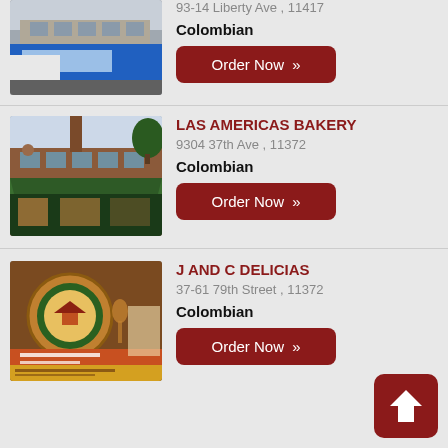[Figure (photo): Street view photo of a restaurant storefront on Liberty Ave]
93-14 Liberty Ave , 11417
Colombian
Order Now »
LAS AMERICAS BAKERY
9304 37th Ave , 11372
Colombian
Order Now »
[Figure (photo): Street view photo of Las Americas Bakery with green awning]
J AND C DELICIAS
37-61 79th Street , 11372
Colombian
Order Now »
[Figure (photo): Sign/logo photo for J and C Delicias Colombian Restaurant]
[Figure (other): Scroll to top button with upward arrow icon]